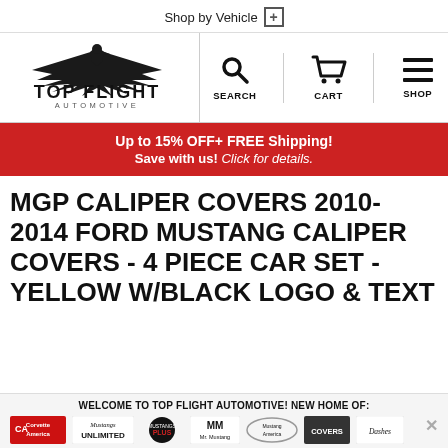Shop by Vehicle +
[Figure (logo): Top Flight Automotive logo with eagle/wings graphic above the text TOP FLIGHT AUTOMOTIVE]
[Figure (infographic): Navigation icons for SEARCH (magnifying glass), CART (shopping cart), and SHOP (hamburger menu)]
Up to 15% OFF+ FREE Shipping! Save with us! Click for details.
MGP CALIPER COVERS 2010-2014 FORD MUSTANG CALIPER COVERS - 4 PIECE CAR SET - YELLOW W/BLACK LOGO & TEXT
WELCOME TO TOP FLIGHT AUTOMOTIVE! NEW HOME OF:
[Figure (logo): Brand logos row: Corvette America, Mustang Unlimited, Mustangs Plus, Mr. Mustang, Mustang America, Covers, Dashes]